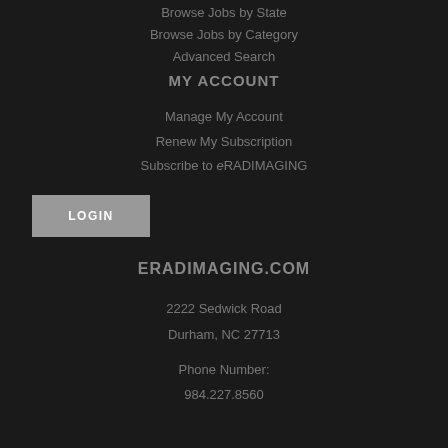Browse Jobs by State
Browse Jobs by Category
Advanced Search
MY ACCOUNT
Manage My Account
Renew My Subscription
Subscribe to eRADIMAGING
LOGIN
ERADIMAGING.COM
2222 Sedwick Road
Durham, NC 27713
Phone Number:
984.227.8560